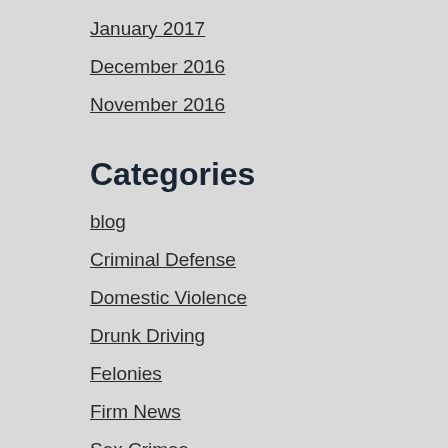January 2017
December 2016
November 2016
Categories
blog
Criminal Defense
Domestic Violence
Drunk Driving
Felonies
Firm News
Sex Crimes
Uncategorized